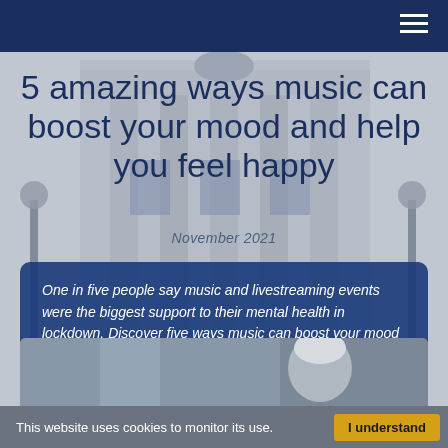5 amazing ways music can boost your mood and help you feel happy
November 2021
[Figure (photo): Grayscale background photo of a neoclassical building with columns and decorative stonework]
One in five people say music and livestreaming events were the biggest support to their mental health in lockdown. Discover five ways music can boost your mood
[Figure (photo): Partial photo of a person with grey/white hair visible at bottom of page]
This website uses cookies to monitor its use.
I understand